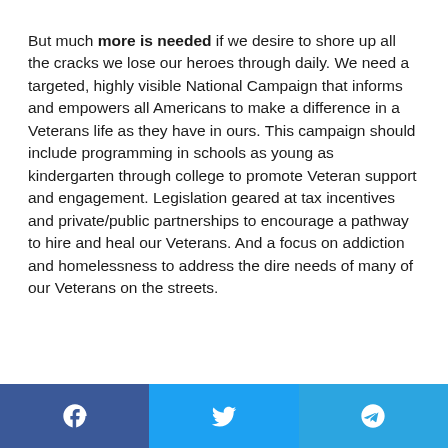But much more is needed if we desire to shore up all the cracks we lose our heroes through daily. We need a targeted, highly visible National Campaign that informs and empowers all Americans to make a difference in a Veterans life as they have in ours. This campaign should include programming in schools as young as kindergarten through college to promote Veteran support and engagement. Legislation geared at tax incentives and private/public partnerships to encourage a pathway to hire and heal our Veterans. And a focus on addiction and homelessness to address the dire needs of many of our Veterans on the streets.
[Figure (other): Social media share buttons: Facebook (blue), Twitter (light blue), Telegram (blue)]